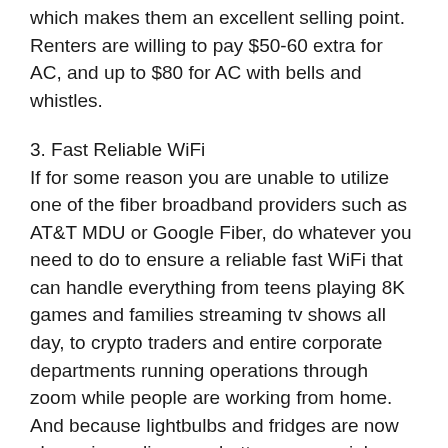which makes them an excellent selling point. Renters are willing to pay $50-60 extra for AC, and up to $80 for AC with bells and whistles.
3. Fast Reliable WiFi
If for some reason you are unable to utilize one of the fiber broadband providers such as AT&T MDU or Google Fiber, do whatever you need to do to ensure a reliable fast WiFi that can handle everything from teens playing 8K games and families streaming tv shows all day, to crypto traders and entire corporate departments running operations through zoom while people are working from home. And because lightbulbs and fridges are now also going online, you better pay special attention to mitigation and prevention of cyber-attacks (which is something you can advertise for a huge leg up).
4. Soundproof Walls